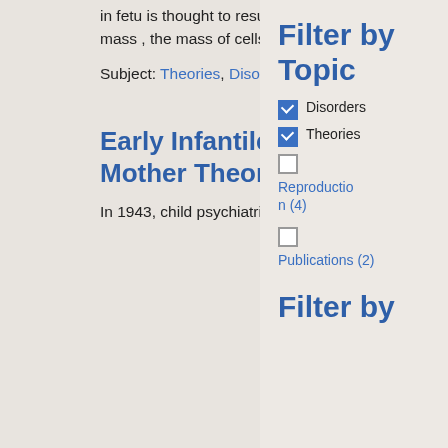in fetu is thought to result from the unequal division of the totipotent inner cell mass , the mass of cells that is the ancestral precursor to all cells in the body.
Subject: Theories, Disorders, Reproduction
Early Infantile Autism and the Refrigerator Mother Theory (1943-1970)
In 1943, child psychiatrist
Filter by Topic
Disorders
Theories
Reproduction (4)
Publications (2)
Filter by